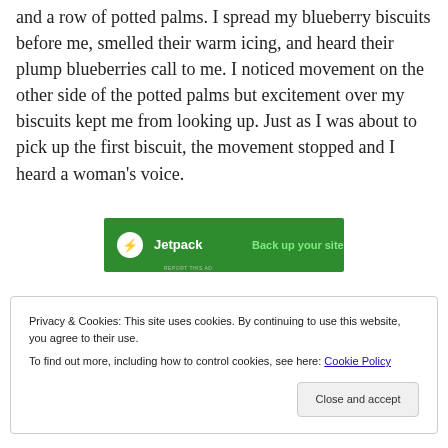and a row of potted palms. I spread my blueberry biscuits before me, smelled their warm icing, and heard their plump blueberries call to me. I noticed movement on the other side of the potted palms but excitement over my biscuits kept me from looking up. Just as I was about to pick up the first biscuit, the movement stopped and I heard a woman's voice.
[Figure (screenshot): Jetpack advertisement banner with green background showing logo and 'Back up your site' text, with 'REPORT THIS AD' label below]
Privacy & Cookies: This site uses cookies. By continuing to use this website, you agree to their use.
To find out more, including how to control cookies, see here: Cookie Policy
Close and accept